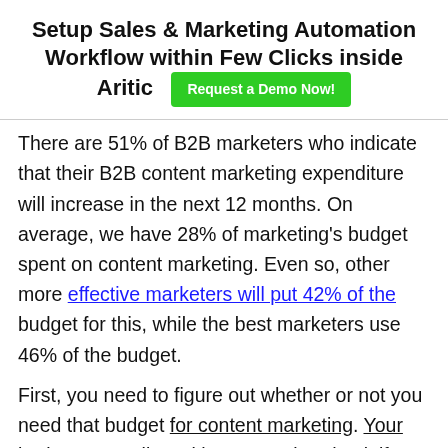Setup Sales & Marketing Automation Workflow within Few Clicks inside Aritic  [Request a Demo Now!]
There are 51% of B2B marketers who indicate that their B2B content marketing expenditure will increase in the next 12 months. On average, we have 28% of marketing's budget spent on content marketing. Even so, other more effective marketers will put 42% of the budget for this, while the best marketers use 46% of the budget.
First, you need to figure out whether or not you need that budget for content marketing. Your budget must align with your goals. Check if you stand to benefit from it.